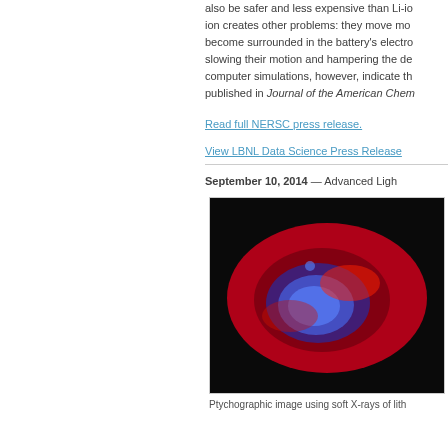also be safer and less expensive than Li-ion creates other problems: they move mo become surrounded in the battery's electro slowing their motion and hampering the de computer simulations, however, indicate th published in Journal of the American Chem
Read full NERSC press release.
View LBNL Data Science Press Release
September 10, 2014 — Advanced Ligh
[Figure (photo): Ptychographic image using soft X-rays of lithium iron phosphate particle showing phase separation, false-color image with red and blue regions on black background]
Ptychographic image using soft X-rays of lith